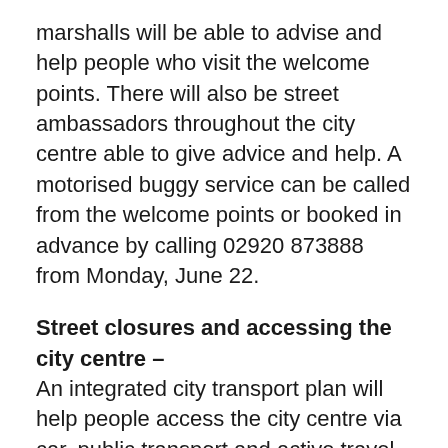marshalls will be able to advise and help people who visit the welcome points. There will also be street ambassadors throughout the city centre able to give advice and help. A motorised buggy service can be called from the welcome points or booked in advance by calling 02920 873888 from Monday, June 22.
Street closures and accessing the city centre –
An integrated city transport plan will help people access the city centre via car, public transport and active travel (walking or cycling). The transport plan will see the city centre put into 'event mode'. This will see road closures similar to those put in place for major rugby internationals in the Principality Stadium. An 'event mode' closure will allow our limited, city-centre spaces to be used most efficiently